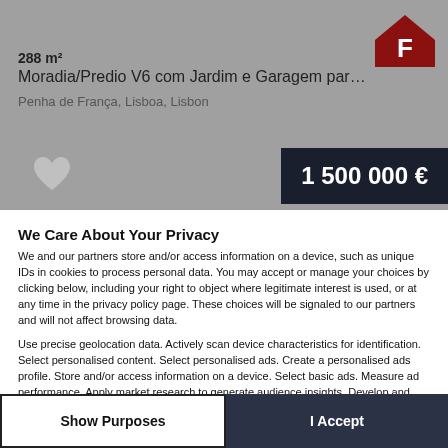[Figure (screenshot): Real estate listing photo placeholder with grey background showing property listing header]
288 m²
Moradia/Predio V6 com Jardim e Garagem para Venda em Arr...
Penha de França, Lisboa, Lisbon
1 500 000 €
We Care About Your Privacy
We and our partners store and/or access information on a device, such as unique IDs in cookies to process personal data. You may accept or manage your choices by clicking below, including your right to object where legitimate interest is used, or at any time in the privacy policy page. These choices will be signaled to our partners and will not affect browsing data.
Use precise geolocation data. Actively scan device characteristics for identification. Select personalised content. Select personalised ads. Create a personalised ads profile. Store and/or access information on a device. Select basic ads. Measure ad performance. Apply market research to generate audience insights. Develop and improve products. Personalised ads and content, ad and content measurement, audience insights and product development.
List of Partners (vendors)
Show Purposes
I Accept